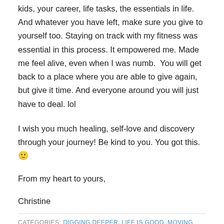kids, your career, life tasks, the essentials in life. And whatever you have left, make sure you give to yourself too. Staying on track with my fitness was essential in this process. It empowered me. Made me feel alive, even when I was numb.  You will get back to a place where you are able to give again, but give it time. And everyone around you will just have to deal. lol
I wish you much healing, self-love and discovery through your journey! Be kind to you. You got this. 🙂
From my heart to yours,
Christine
CATEGORIES: DIGGING DEEPER, LIFE IS GOOD, MOVING FORWARD
TAGS: AUTHENTIC SELF, DIGGING DEEPER, DIVORCE